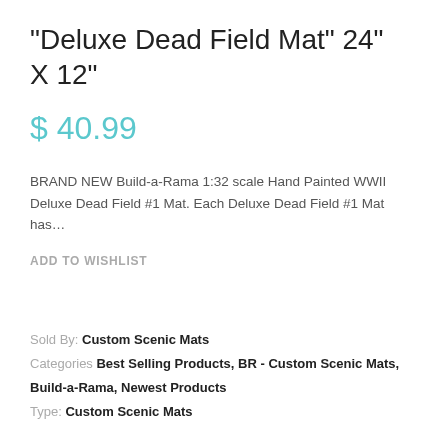"Deluxe Dead Field Mat" 24" X 12"
$ 40.99
BRAND NEW Build-a-Rama 1:32 scale Hand Painted WWII Deluxe Dead Field #1 Mat. Each Deluxe Dead Field #1 Mat has…
ADD TO WISHLIST
Sold By: Custom Scenic Mats
Categories Best Selling Products, BR - Custom Scenic Mats, Build-a-Rama, Newest Products
Type: Custom Scenic Mats